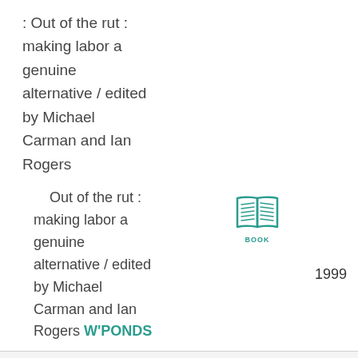: Out of the rut : making labor a genuine alternative / edited by Michael Carman and Ian Rogers
Out of the rut : making labor a genuine alternative / edited by Michael Carman and Ian Rogers W'PONDS
[Figure (illustration): Teal book icon with the word BOOK below it]
1999
324.29407
Cav/Pct
: Power crisis : the self-destruction of